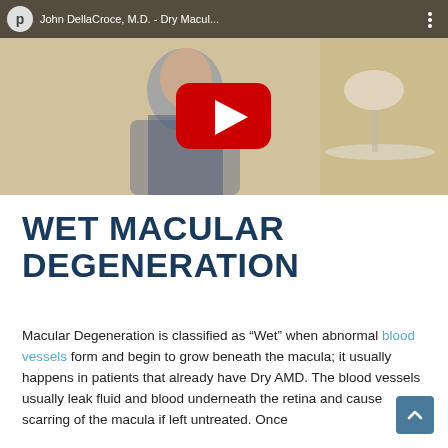[Figure (screenshot): YouTube video thumbnail showing John DellaCroce M.D. seated in a chair wearing a suit, with a red YouTube play button overlay. The video title bar shows 'John DellaCroce, M.D. - Dry Macul...' with a YouTube logo and a three-dot menu icon.]
WET MACULAR DEGENERATION
Macular Degeneration is classified as "Wet" when abnormal blood vessels form and begin to grow beneath the macula; it usually happens in patients that already have Dry AMD. The blood vessels usually leak fluid and blood underneath the retina and cause scarring of the macula if left untreated. Once